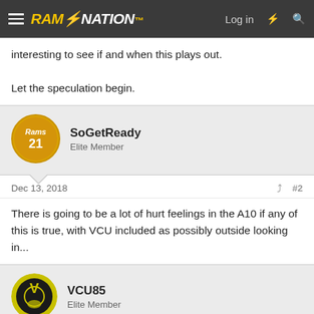RAM NATION — Log in
interesting to see if and when this plays out.

Let the speculation begin.
SoGetReady
Elite Member
Dec 13, 2018  #2
There is going to be a lot of hurt feelings in the A10 if any of this is true, with VCU included as possibly outside looking in...
VCU85
Elite Member
Dec 13, 2018  #3
Hail Mary full of grace the lord is with thee. Blesss.....................